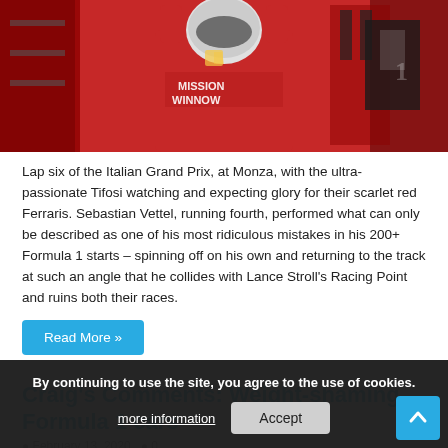[Figure (photo): Ferrari Formula 1 driver in red race suit with MISSION WINNOW branding, adjusting helmet in front of red Ferrari garage/car.]
Lap six of the Italian Grand Prix, at Monza, with the ultra-passionate Tifosi watching and expecting glory for their scarlet red Ferraris. Sebastian Vettel, running fourth, performed what can only be described as one of his most ridiculous mistakes in his 200+ Formula 1 starts – spinning off on his own and returning to the track at such an angle that he collides with Lance Stroll's Racing Point and ruins both their races.
Read More »
Craig's Comments: Weight-shaming Formula 1 cars
February 13, 2020  0
By continuing to use the site, you agree to the use of cookies.
more information
Accept